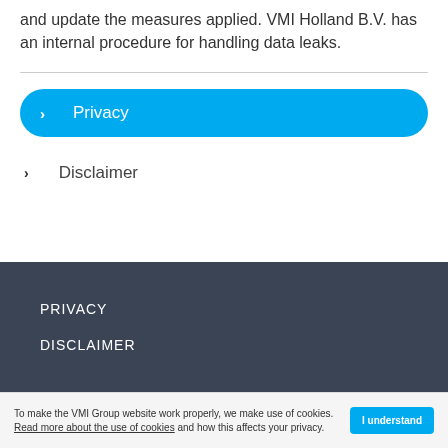and update the measures applied. VMI Holland B.V. has an internal procedure for handling data leaks.
› Privacy
› Disclaimer
PRIVACY
DISCLAIMER
To make the VMI Group website work properly, we make use of cookies. Read more about the use of cookies and how this affects your privacy. I understand